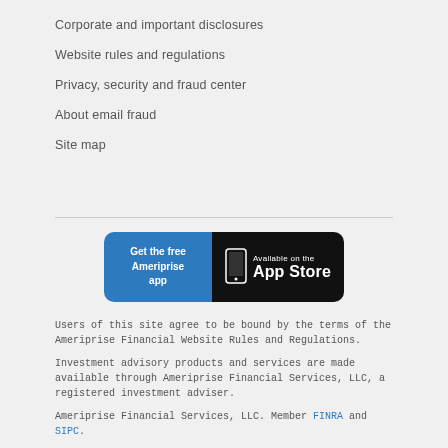Corporate and important disclosures
Website rules and regulations
Privacy, security and fraud center
About email fraud
Site map
[Figure (screenshot): App Store badge with blue left panel reading 'Get the free Ameriprise app' and black right panel with phone icon and 'Available on the App Store']
Users of this site agree to be bound by the terms of the Ameriprise Financial Website Rules and Regulations.
Investment advisory products and services are made available through Ameriprise Financial Services, LLC, a registered investment adviser.
Ameriprise Financial Services, LLC. Member FINRA and SIPC.
© 2005-2022 Ameriprise Financial, Inc. All rights reserved.